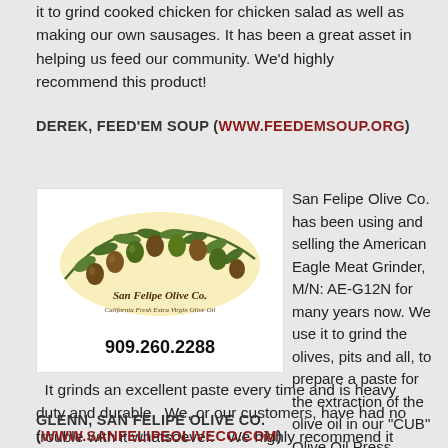it to grind cooked chicken for chicken salad as well as making our own sausages. It has been a great asset in helping us feed our community. We'd highly recommend this product!
DEREK, FEED'EM SOUP (WWW.FEEDEMSOUP.ORG)
[Figure (logo): San Felipe Olive Co. logo with olives on a branch, California Fresh Extra Virgin Olive Oil, phone number 909.260.2288]
San Felipe Olive Co. has been using and selling the American Eagle Meat Grinder, M/N: AE-G12N for many years now. We use it to grind the olives, pits and all, to prepare a paste for the extraction of the olive oil in our "CUB" Olive Oil Press.  It grinds an excellent paste every time and is heavy duty and durable.  We, or our customers, have had no trouble with it whatsoever.   We highly recommend it for your heavy duty grinding.
GLENN, SAN FELIPE OLIVE CO. (WWW.SANFELIPEOLIVECO.COM)